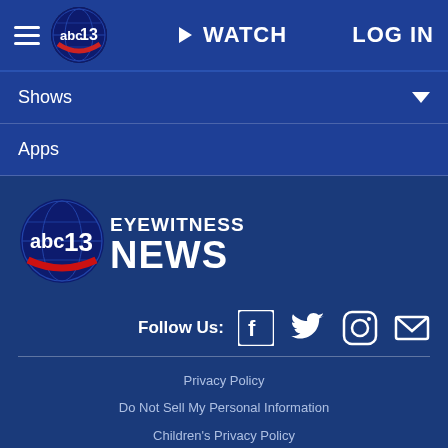abc13 | WATCH | LOG IN
Shows
Apps
[Figure (logo): ABC13 Eyewitness News logo with sphere and news text]
Follow Us: [Facebook] [Twitter] [Instagram] [Email]
Privacy Policy | Do Not Sell My Personal Information | Children's Privacy Policy | Your California Privacy Rights | Terms of Use | Interest-Based Ads | Public Inspection File | FCC Applications